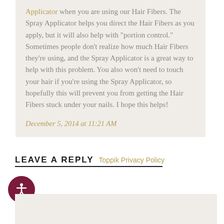Applicator when you are using our Hair Fibers. The Spray Applicator helps you direct the Hair Fibers as you apply, but it will also help with "portion control." Sometimes people don't realize how much Hair Fibers they're using, and the Spray Applicator is a great way to help with this problem. You also won't need to touch your hair if you're using the Spray Applicator, so hopefully this will prevent you from getting the Hair Fibers stuck under your nails. I hope this helps!
December 5, 2014 at 11:21 AM
LEAVE A REPLY  Toppik Privacy Policy
[Figure (other): Circular accessibility icon button with white person silhouette on dark red/maroon background]